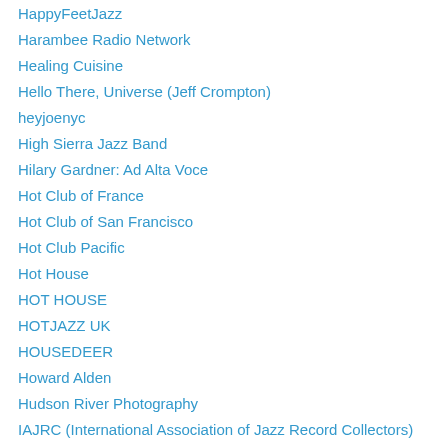HappyFeetJazz
Harambee Radio Network
Healing Cuisine
Hello There, Universe (Jeff Crompton)
heyjoenyc
High Sierra Jazz Band
Hilary Gardner: Ad Alta Voce
Hot Club of France
Hot Club of San Francisco
Hot Club Pacific
Hot House
HOT HOUSE
HOTJAZZ UK
HOUSEDEER
Howard Alden
Hudson River Photography
IAJRC (International Association of Jazz Record Collectors)
Inn Paradiso
Institute of Jazz Studies
Inverted Garden